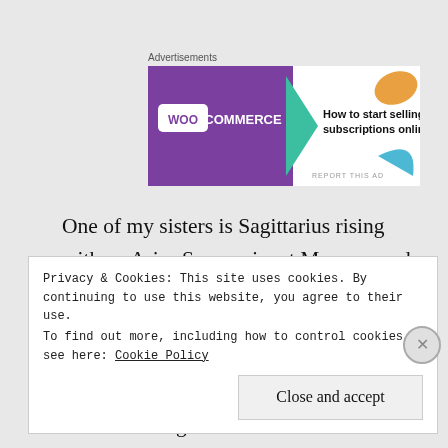[Figure (screenshot): WooCommerce advertisement banner showing 'How to start selling subscriptions online' with purple and teal/orange design]
One of my sisters is Sagittarius rising with an Aries Sun conjunct Mercury and Venus, all trine her ascendant. My sister has learned to speak Chinese very well and lived there for a semester or two in college. I believe she learned some Polish while working there for a little while. In fact, she'd probably be more comfortable moving back to East Asia than trying to find a place here in America.
Privacy & Cookies: This site uses cookies. By continuing to use this website, you agree to their use.
To find out more, including how to control cookies, see here: Cookie Policy